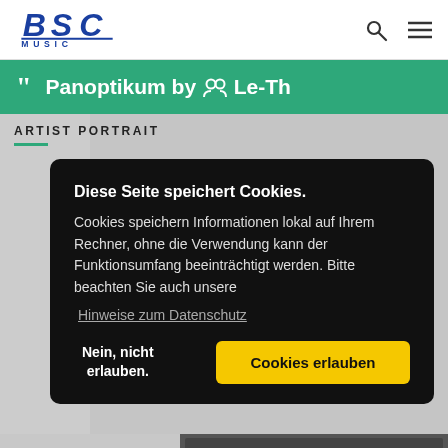BSC MUSIC — navigation header with search and menu icons
❝ Panoptikum by 👥 Le-Th
ARTIST PORTRAIT
[Figure (screenshot): Background photo area showing partial artist photo / wall]
Diese Seite speichert Cookies.
Cookies speichern Informationen lokal auf Ihrem Rechner, ohne die Verwendung kann der Funktionsumfang beeinträchtigt werden. Bitte beachten Sie auch unsere
Hinweise zum Datenschutz
Nein, nicht erlauben. | Cookies erlauben